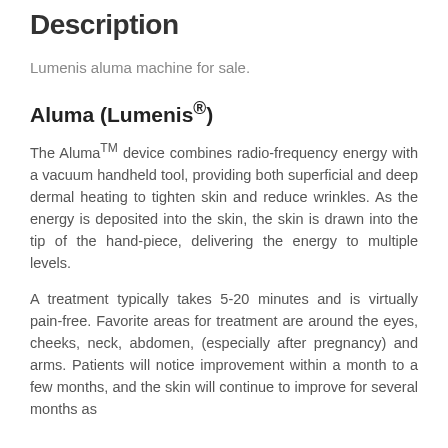Description
Lumenis aluma machine for sale.
Aluma (Lumenis®)
The AlumaTM device combines radio-frequency energy with a vacuum handheld tool, providing both superficial and deep dermal heating to tighten skin and reduce wrinkles. As the energy is deposited into the skin, the skin is drawn into the tip of the hand-piece, delivering the energy to multiple levels.
A treatment typically takes 5-20 minutes and is virtually pain-free. Favorite areas for treatment are around the eyes, cheeks, neck, abdomen, (especially after pregnancy) and arms. Patients will notice improvement within a month to a few months, and the skin will continue to improve for several months as